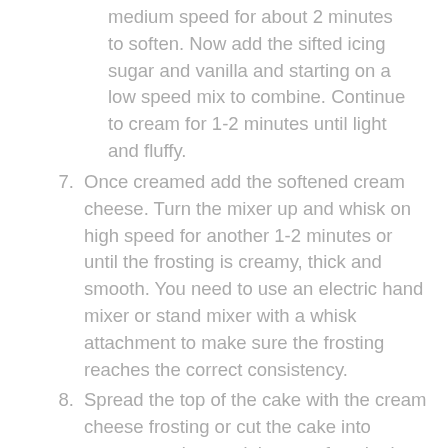medium speed for about 2 minutes to soften. Now add the sifted icing sugar and vanilla and starting on a low speed mix to combine. Continue to cream for 1-2 minutes until light and fluffy.
7. Once creamed add the softened cream cheese. Turn the mixer up and whisk on high speed for another 1-2 minutes or until the frosting is creamy, thick and smooth. You need to use an electric hand mixer or stand mixer with a whisk attachment to make sure the frosting reaches the correct consistency.
8. Spread the top of the cake with the cream cheese frosting or cut the cake into squares and spread the top of each piece with the frosting or pipe the frosting on the top of each piece of cake. Further decorate with chopped nuts or sprinkles as desired. The cake will store